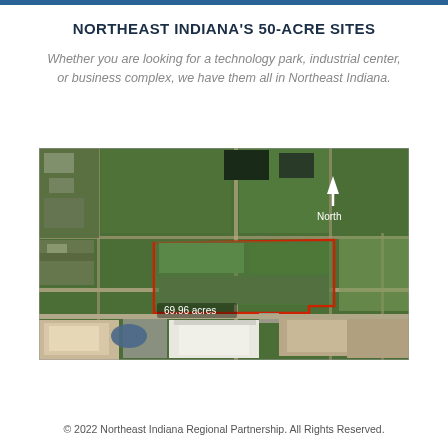NORTHEAST INDIANA'S 50-ACRE SITES
Whether you are looking for a technology park, industrial center, or business complex, we have them all in Northeast Indiana.
[Figure (photo): Aerial satellite view of a 69.96 acres land parcel outlined in red in Northeast Indiana, with a white arrow pointing north labeled 'North', and industrial buildings visible in the lower portion of the image.]
© 2022 Northeast Indiana Regional Partnership. All Rights Reserved.